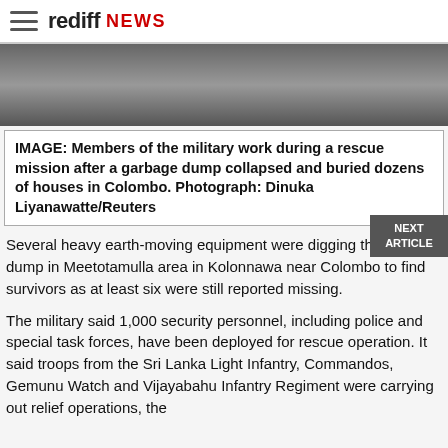rediff NEWS
[Figure (photo): Partial view of a news photograph related to military rescue mission after garbage dump collapse in Colombo.]
IMAGE: Members of the military work during a rescue mission after a garbage dump collapsed and buried dozens of houses in Colombo. Photograph: Dinuka Liyanawatte/Reuters
Several heavy earth-moving equipment were digging through the dump in Meetotamulla area in Kolonnawa near Colombo to find survivors as at least six were still reported missing.
The military said 1,000 security personnel, including police and special task forces, have been deployed for rescue operation. It said troops from the Sri Lanka Light Infantry, Commandos, Gemunu Watch and Vijayabahu Infantry Regiment were carrying out relief operations, the